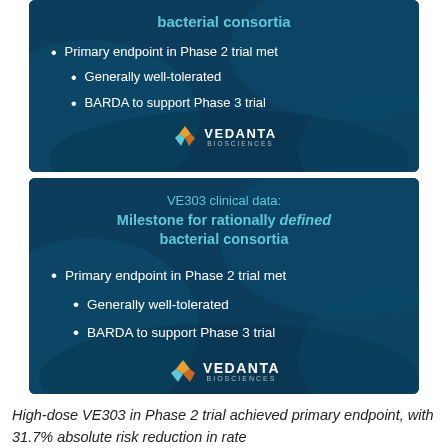[Figure (infographic): Dark blue card (partial, top of page) showing 'bacterial consortia' title in teal bold, bullet points in white: 'Primary endpoint in Phase 2 trial met', sub-bullets 'Generally well-tolerated' and 'BARDA to support Phase 3 trial', Vedanta Biosciences logo at bottom.]
[Figure (infographic): Dark blue card showing 'VE303 clinical data: Milestone for rationally defined bacterial consortia' title, same bullet points as above, Vedanta Biosciences logo at bottom.]
High-dose VE303 in Phase 2 trial achieved primary endpoint, with 31.7% absolute risk reduction in rate